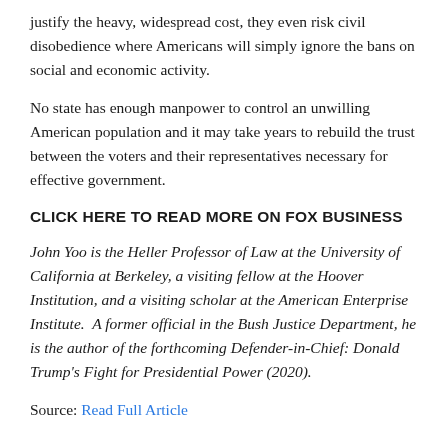justify the heavy, widespread cost, they even risk civil disobedience where Americans will simply ignore the bans on social and economic activity.
No state has enough manpower to control an unwilling American population and it may take years to rebuild the trust between the voters and their representatives necessary for effective government.
CLICK HERE TO READ MORE ON FOX BUSINESS
John Yoo is the Heller Professor of Law at the University of California at Berkeley, a visiting fellow at the Hoover Institution, and a visiting scholar at the American Enterprise Institute. A former official in the Bush Justice Department, he is the author of the forthcoming Defender-in-Chief: Donald Trump's Fight for Presidential Power (2020).
Source: Read Full Article